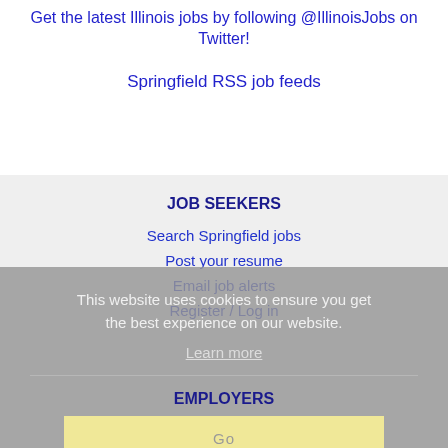Get the latest Illinois jobs by following @IllinoisJobs on Twitter!
Springfield RSS job feeds
JOB SEEKERS
Search Springfield jobs
Post your resume
Email job alerts
Register / Log in
This website uses cookies to ensure you get the best experience on our website.
Learn more
EMPLOYERS
Post jobs
Search resumes